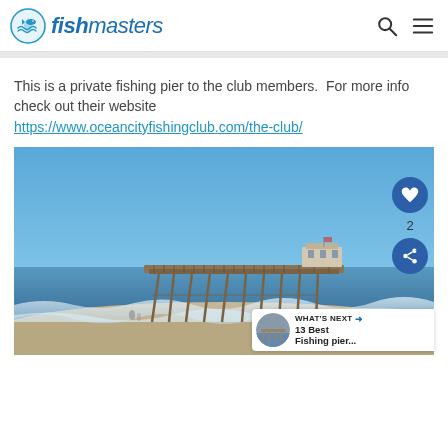fishmasters
This is a private fishing pier to the club members.  For more info check out their website https://www.oceancityfishingclub.com/the-club/
[Figure (photo): A fishing pier extending into the ocean with blue sky background, waves on the beach. A wooden pier with a structure at the end visible.]